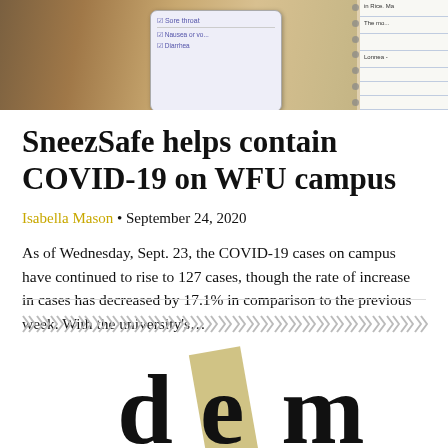[Figure (photo): Hands holding a smartphone showing a symptom checklist app, with a spiral notebook visible in the background on the right]
SneezSafe helps contain COVID-19 on WFU campus
Isabella Mason • September 24, 2020
As of Wednesday, Sept. 23, the COVID-19 cases on campus have continued to rise to 127 cases, though the rate of increase in cases has decreased by 17.1% in comparison to the previous week. With the university's...
[Figure (logo): Decorative chevron divider row followed by partial WFU logo letters and a gold/tan diagonal bar element at the bottom of the page]